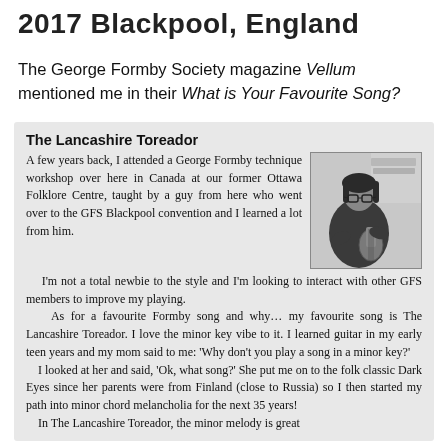2017 Blackpool, England
The George Formby Society magazine Vellum mentioned me in their What is Your Favourite Song?
The Lancashire Toreador
A few years back, I attended a George Formby technique workshop over here in Canada at our former Ottawa Folklore Centre, taught by a guy from here who went over to the GFS Blackpool convention and I learned a lot from him.
    I'm not a total newbie to the style and I'm looking to interact with other GFS members to improve my playing.
    As for a favourite Formby song and why… my favourite song is The Lancashire Toreador. I love the minor key vibe to it. I learned guitar in my early teen years and my mom said to me: 'Why don't you play a song in a minor key?'
    I looked at her and said, 'Ok, what song?' She put me on to the folk classic Dark Eyes since her parents were from Finland (close to Russia) so I then started my path into minor chord melancholia for the next 35 years!
    In The Lancashire Toreador, the minor melody is great
[Figure (photo): Black and white photo of a person wearing dark clothing and glasses, playing a ukulele or small guitar indoors.]